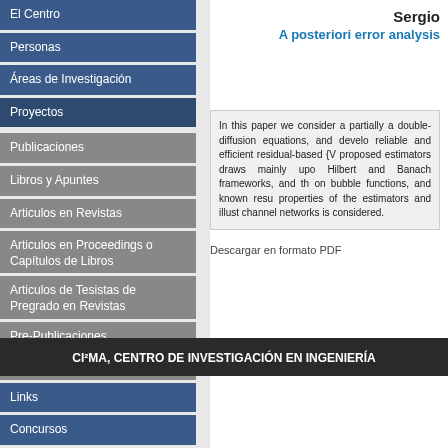El Centro
Personas
Áreas de Investigación
Proyectos
Publicaciones
Libros y Apuntes
Articulos en Revistas
Articulos en Proceedings o Capítulos de Libros
Articulos de Tesistas de Pregrado en Revistas
Pre-Publicaciones
Tesis de Postgrado
Tesis de Pregrado
Sergio
A posteriori error analysis
In this paper we consider a partially a double-diffusion equations, and develo reliable and efficient residual-based {V proposed estimators draws mainly upo Hilbert and Banach frameworks, and th on bubble functions, and known resu properties of the estimators and illust channel networks is considered.
Descargar en formato PDF
CI²MA, CENTRO DE INVESTIGACIÓN EN INGENIERÍA
Links
Concursos